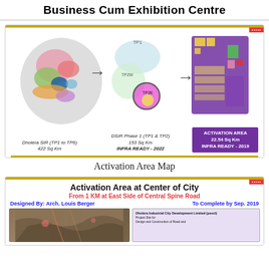Business Cum Exhibition Centre
[Figure (map): Three-panel map showing Dholera SIR zones: (1) Dholera SIR (TP1 to TP6) 422 Sq Km, (2) DSIR Phase 1 (TP1 & TP2) 153 Sq Km INFRA READY - 2022, (3) Activation Area 22.54 Sq Km INFRA READY - 2019, with arrows showing zoom-in progression]
Activation Area Map
Activation Area at Center of City
From 1 KM at East Side of Central Spine Road
Designed By: Arch. Louis Berger    To Complete by Sep. 2019